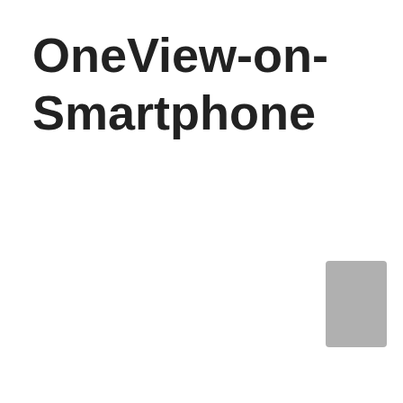OneView-on-Smartphone
[Figure (illustration): A small gray rectangle representing a smartphone silhouette, positioned in the lower-right area of the page.]